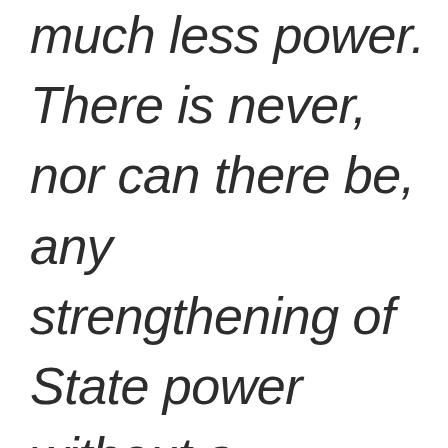much less power. There is never, nor can there be, any strengthening of State power without a corresponding and